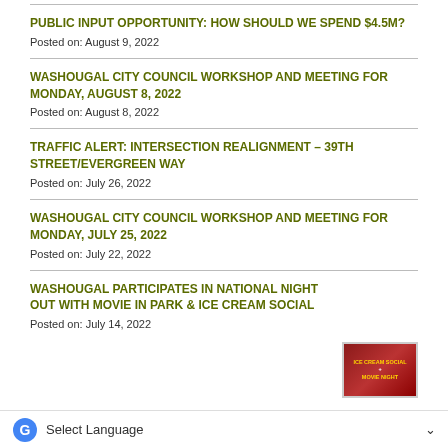PUBLIC INPUT OPPORTUNITY: HOW SHOULD WE SPEND $4.5M?
Posted on: August 9, 2022
WASHOUGAL CITY COUNCIL WORKSHOP AND MEETING FOR MONDAY, AUGUST 8, 2022
Posted on: August 8, 2022
TRAFFIC ALERT: INTERSECTION REALIGNMENT – 39TH STREET/EVERGREEN WAY
Posted on: July 26, 2022
WASHOUGAL CITY COUNCIL WORKSHOP AND MEETING FOR MONDAY, JULY 25, 2022
Posted on: July 22, 2022
WASHOUGAL PARTICIPATES IN NATIONAL NIGHT OUT WITH MOVIE IN PARK & ICE CREAM SOCIAL
Posted on: July 14, 2022
[Figure (photo): Ice Cream Social Movie Night thumbnail image with red/dark background and yellow text]
Select Language